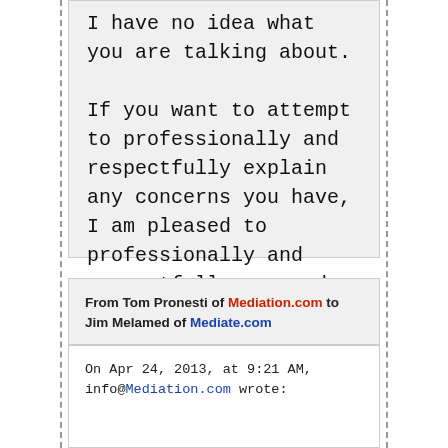I have no idea what you are talking about.

If you want to attempt to professionally and respectfully explain any concerns you have, I am pleased to professionally and respectfully respond.

JIm
From Tom Pronesti of Mediation.com to Jim Melamed of Mediate.com
On Apr 24, 2013, at 9:21 AM, info@Mediation.com wrote: